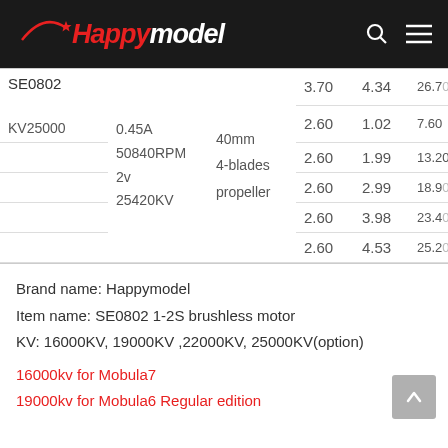Happymodel
| Model | Specs | Propeller | V1 | V2 | V3 |
| --- | --- | --- | --- | --- | --- |
| SE0802 |  |  | 3.70 | 4.34 | 26.70 |
| KV25000 |  |  | 2.60 | 1.02 | 7.60 |
|  | 0.45A
50840RPM
2v
25420KV | 40mm
4-blades
propeller | 2.60 | 1.99 | 13.20 |
|  |  |  | 2.60 | 2.99 | 18.90 |
|  |  |  | 2.60 | 3.98 | 23.40 |
|  |  |  | 2.60 | 4.53 | 25.20 |
Brand name: Happymodel
Item name: SE0802 1-2S brushless motor
KV: 16000KV, 19000KV ,22000KV, 25000KV(option)
16000kv for Mobula7
19000kv for Mobula6 Regular edition